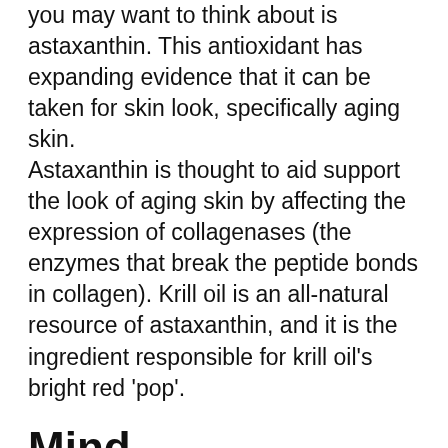you may want to think about is astaxanthin. This antioxidant has expanding evidence that it can be taken for skin look, specifically aging skin. Astaxanthin is thought to aid support the look of aging skin by affecting the expression of collagenases (the enzymes that break the peptide bonds in collagen). Krill oil is an all-natural resource of astaxanthin, and it is the ingredient responsible for krill oil's bright red 'pop'.
Mind.
A greater consumption of omega-3 fats EPA and DHA has revealed possible in sustaining cognitive feature, especially for people with light cognitive impairment.